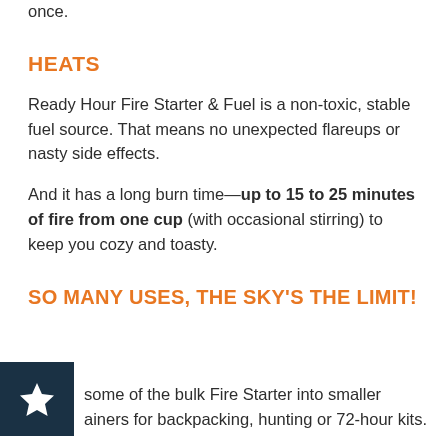once.
HEATS
Ready Hour Fire Starter & Fuel is a non-toxic, stable fuel source. That means no unexpected flareups or nasty side effects.
And it has a long burn time—up to 15 to 25 minutes of fire from one cup (with occasional stirring) to keep you cozy and toasty.
SO MANY USES, THE SKY'S THE LIMIT!
some of the bulk Fire Starter into smaller ainers for backpacking, hunting or 72-hour kits.